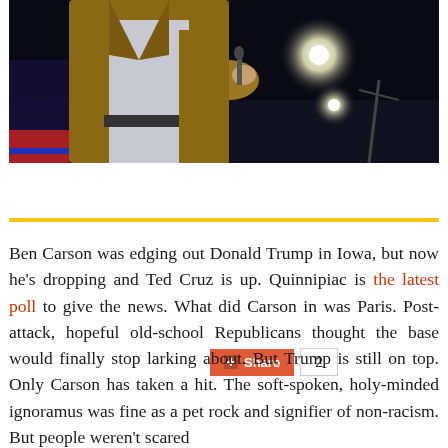[Figure (photo): A man in a tan/brown blazer speaking at a podium or event on a dark stage with bright stage lights visible in the background]
Share 2
Ben Carson was edging out Donald Trump in Iowa, but now he's dropping and Ted Cruz is up. Quinnipiac is the latest poll to give the news. What did Carson in was Paris. Post-attack, hopeful old-school Republicans thought the base would finally stop larking about. But Trump is still on top. Only Carson has taken a hit. The soft-spoken, holy-minded ignoramus was fine as a pet rock and signifier of non-racism. But people weren't scared